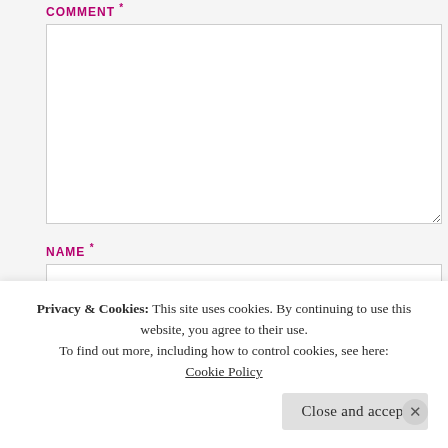COMMENT *
[textarea field — empty]
NAME *
[text input — empty]
EMAIL *
[text input — empty, partially visible]
Privacy & Cookies: This site uses cookies. By continuing to use this website, you agree to their use.
To find out more, including how to control cookies, see here:
Cookie Policy
Close and accept